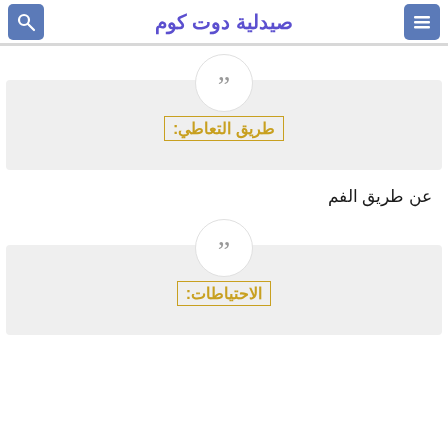صيدلية دوت كوم
[Figure (other): Quotation mark icon in white circle on gray background block for section طريق التعاطي]
طريق التعاطي:
عن طريق الفم
[Figure (other): Quotation mark icon in white circle on gray background block for section الاحتياطات]
الاحتياطات: